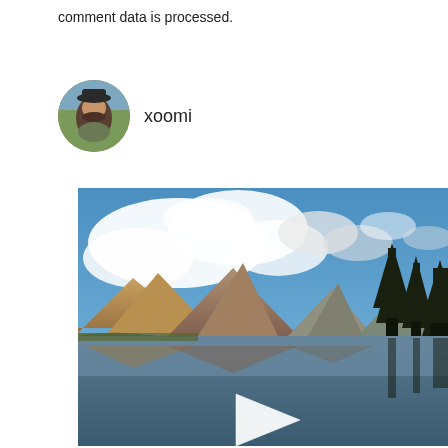comment data is processed.
xoomi
[Figure (photo): Landscape photo used as video thumbnail showing a mountain lake scene with blue sky and white clouds, mountains in the background, conifer trees on the right, and a reflection of mountains in the still water. A white play button triangle is overlaid in the center.]